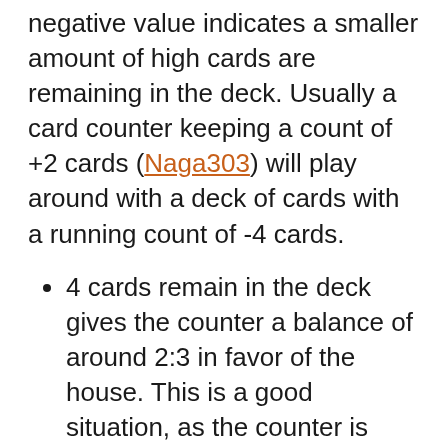negative value indicates a smaller amount of high cards are remaining in the deck. Usually a card counter keeping a count of +2 cards (Naga303) will play around with a deck of cards with a running count of -4 cards.
4 cards remain in the deck gives the counter a balance of around 2:3 in favor of the house. This is a good situation, as the counter is hoping for a good shuffle. If you are rating the cards you are dealt, you are trying to figure out the